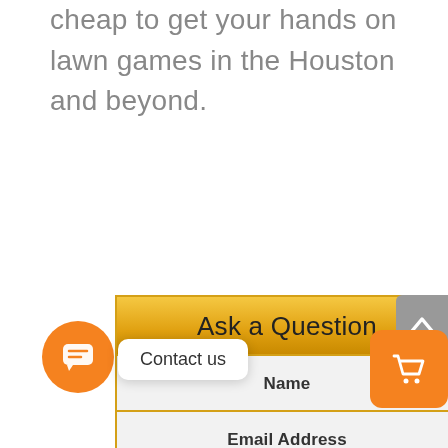cheap to get your hands on lawn games in the Houston and beyond.
[Figure (screenshot): Ask a Question widget with golden gradient header, Name field, and Email Address field]
[Figure (other): Orange circular chat button with speech bubble icon]
Contact us
[Figure (other): Grey scroll-to-top button with upward chevron arrow]
[Figure (other): Orange rounded square cart button with shopping cart icon]